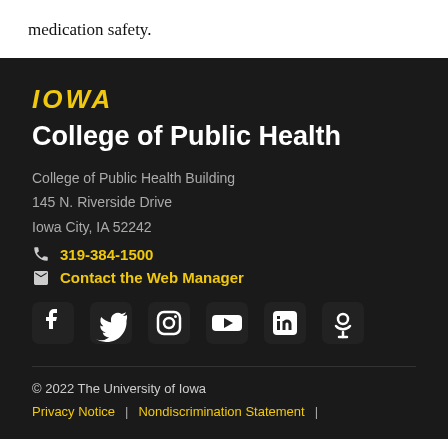medication safety.
[Figure (logo): University of Iowa IOWA wordmark in gold italic bold text]
College of Public Health
College of Public Health Building
145 N. Riverside Drive
Iowa City, IA 52242
319-384-1500
Contact the Web Manager
[Figure (infographic): Social media icons: Facebook, Twitter, Instagram, YouTube, LinkedIn, Podcast]
© 2022 The University of Iowa
Privacy Notice | Nondiscrimination Statement |